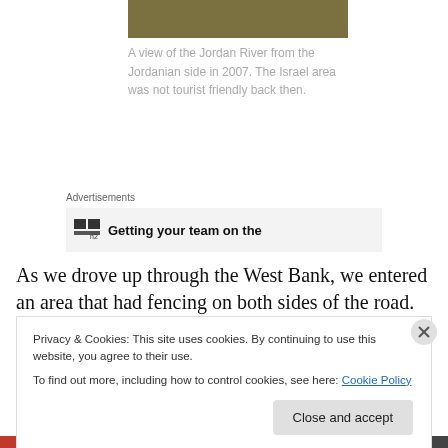[Figure (photo): A partial view of a photo showing the Jordan River from the Jordanian side, olive/khaki colored landscape]
A view of the Jordan River from the Jordanian side in 2007. The Israel area was not tourist friendly back then.
Advertisements
[Figure (screenshot): Advertisement banner with logo and bold text: Getting your team on the]
As we drove up through the West Bank, we entered an area that had fencing on both sides of the road. Beyond
Privacy & Cookies: This site uses cookies. By continuing to use this website, you agree to their use.
To find out more, including how to control cookies, see here: Cookie Policy
Close and accept